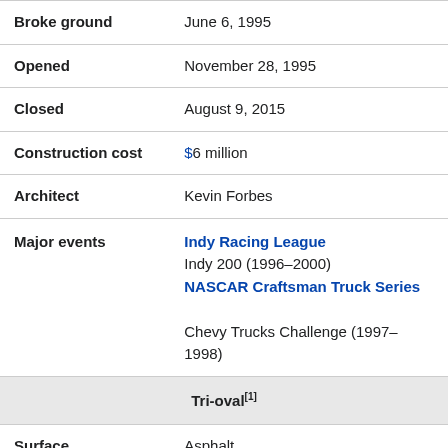| Broke ground | June 6, 1995 |
| Opened | November 28, 1995 |
| Closed | August 9, 2015 |
| Construction cost | $6 million |
| Architect | Kevin Forbes |
| Major events | Indy Racing League
Indy 200 (1996–2000)
NASCAR Craftsman Truck Series
Chevy Trucks Challenge (1997–1998) |
| Tri-oval[1] |  |
| Surface | Asphalt |
| Length | 1.6 km (1 miles) |